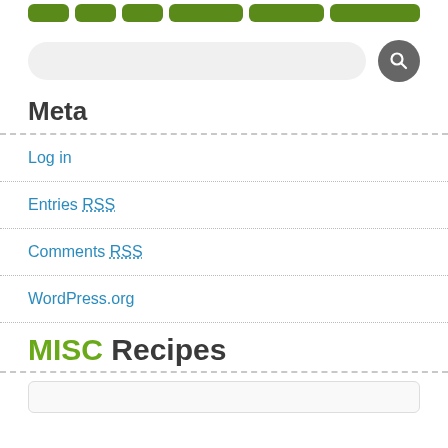[Figure (screenshot): Navigation bar with green pill-shaped buttons]
[Figure (screenshot): Search input field with rounded corners and a dark circular search button with magnifying glass icon]
Meta
Log in
Entries RSS
Comments RSS
WordPress.org
MISC Recipes
[Figure (screenshot): Bottom partial box/card element]